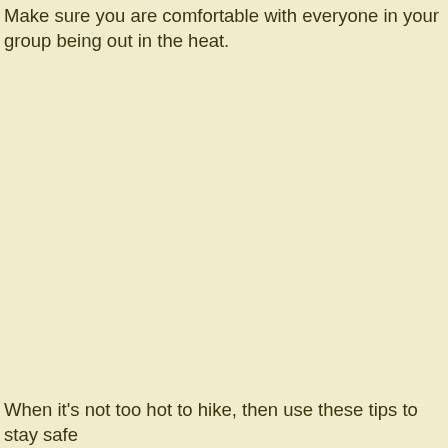Make sure you are comfortable with everyone in your group being out in the heat.
When it's not too hot to hike, then use these tips to stay safe